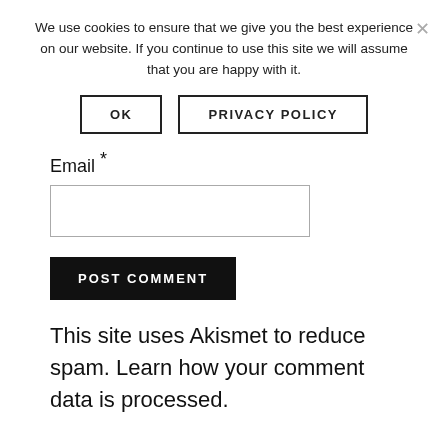We use cookies to ensure that we give you the best experience on our website. If you continue to use this site we will assume that you are happy with it.
OK
PRIVACY POLICY
Email *
POST COMMENT
This site uses Akismet to reduce spam. Learn how your comment data is processed.